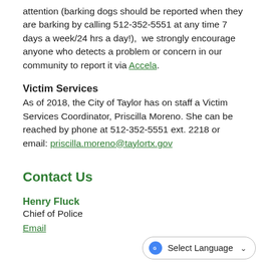attention (barking dogs should be reported when they are barking by calling 512-352-5551 at any time 7 days a week/24 hrs a day!),  we strongly encourage anyone who detects a problem or concern in our community to report it via Accela.
Victim Services
As of 2018, the City of Taylor has on staff a Victim Services Coordinator, Priscilla Moreno. She can be reached by phone at 512-352-5551 ext. 2218 or email:  priscilla.moreno@taylortx.gov
Contact Us
Henry Fluck
Chief of Police
Email